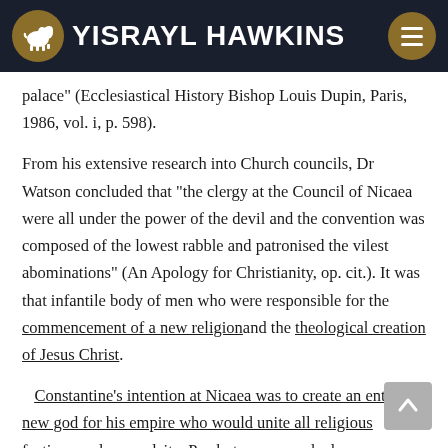YISRAYL HAWKINS
palace” (Ecclesiastical History Bishop Louis Dupin, Paris, 1986, vol. i, p. 598).
From his extensive research into Church councils, Dr Watson concluded that “the clergy at the Council of Nicaea were all under the power of the devil and the convention was composed of the lowest rabble and patronised the vilest abominations” (An Apology for Christianity, op. cit.). It was that infantile body of men who were responsible for the commencement of a new religion and the theological creation of Jesus Christ.
Constantine’s intention at Nicaea was to create an entirely new god for his empire who would unite all religious factions under one deity. Presbyters were asked